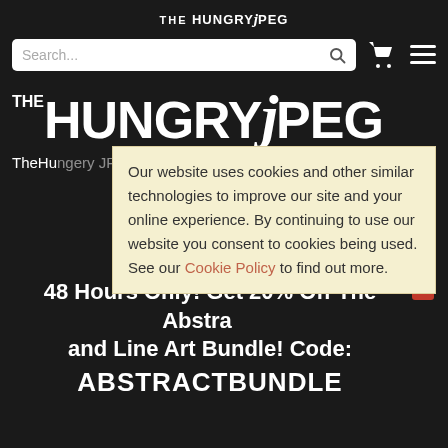THE HUNGRY JPEG
[Figure (screenshot): Search bar with magnifying glass icon, shopping cart icon, and hamburger menu icon on dark background]
[Figure (logo): THE HUNGRY JPEG large logo in white on dark background]
TheHu... JPEG is... fonts,... freebie...
Our website uses cookies and other similar technologies to improve our site and your online experience. By continuing to use our website you consent to cookies being used. See our Cookie Policy to find out more.
48 Hours Only! Get 20% Off The Abstra and Line Art Bundle! Code: ABSTRACTBUNDLE